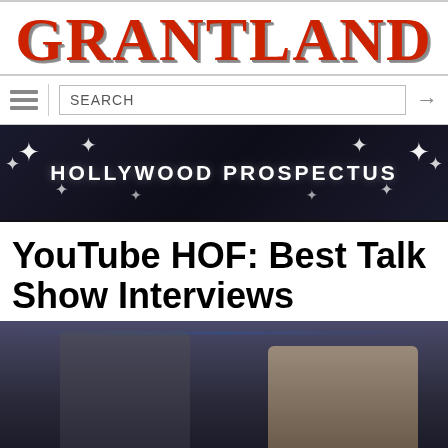GRANTLAND
[Figure (screenshot): Navigation bar with hamburger menu icon, search box, and arrow button]
[Figure (photo): Hollywood Prospectus banner with star burst lights and white text on dark background]
YouTube HOF: Best Talk Show Interviews
[Figure (photo): Two men on a talk show set, one with dark hair and sunglasses, the other older with glasses, in front of blue and ornate backdrop]